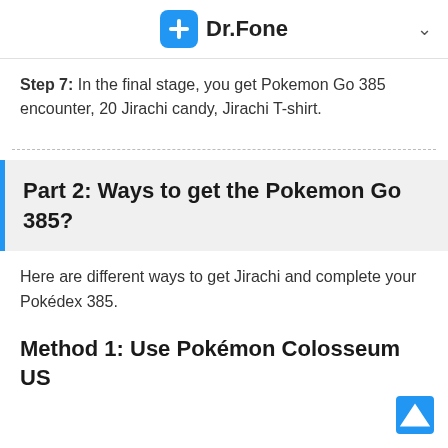Dr.Fone
Step 7: In the final stage, you get Pokemon Go 385 encounter, 20 Jirachi candy, Jirachi T-shirt.
Part 2: Ways to get the Pokemon Go 385?
Here are different ways to get Jirachi and complete your Pokédex 385.
Method 1: Use Pokémon Colosseum US